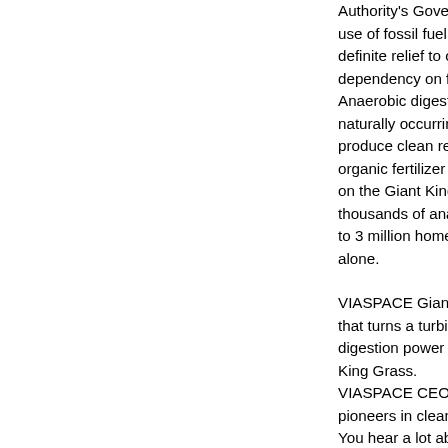Authority's Governing Boa use of fossil fuel in the ter definite relief to our custo dependency on fossil fuel t Anaerobic digestion mimic naturally occurring biologi produce clean renewable organic fertilizer which wil on the Giant King Grass fie thousands of anaerobic dig to 3 million homes in Germ alone.
VIASPACE Giant King Gra that turns a turbine to pro digestion power plants. Th King Grass. VIASPACE CEO Dr. Carl K pioneers in clean renewab You hear a lot about solar and wind are intermittent e store electricity on a large grid."
Dr. Kukkonen continued, " receive license fee revenu